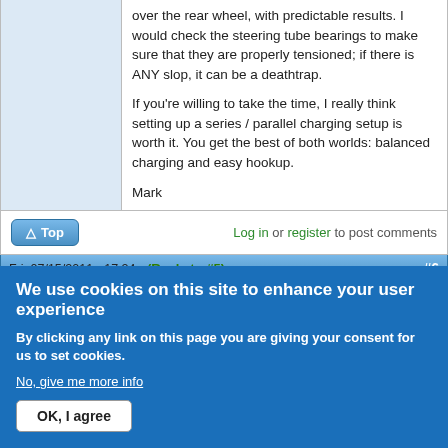over the rear wheel, with predictable results. I would check the steering tube bearings to make sure that they are properly tensioned; if there is ANY slop, it can be a deathtrap.

If you're willing to take the time, I really think setting up a series / parallel charging setup is worth it. You get the best of both worlds: balanced charging and easy hookup.

Mark
Log in or register to post comments
Fri, 07/15/2011 - 17:24 (Reply to #5) #6
LeftieBiker
Re: XM-3150
We use cookies on this site to enhance your user experience
By clicking any link on this page you are giving your consent for us to set cookies.
No, give me more info
OK, I agree